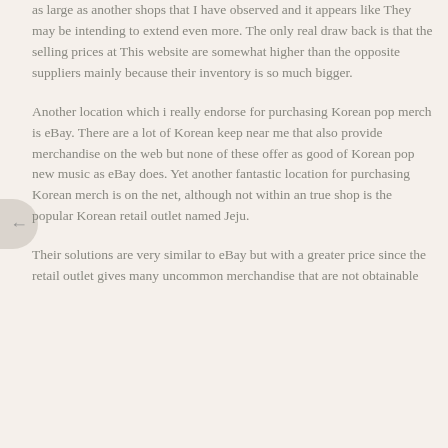as large as another shops that I have observed and it appears like They may be intending to extend even more. The only real draw back is that the selling prices at This website are somewhat higher than the opposite suppliers mainly because their inventory is so much bigger.
Another location which i really endorse for purchasing Korean pop merch is eBay. There are a lot of Korean keep near me that also provide merchandise on the web but none of these offer as good of Korean pop new music as eBay does. Yet another fantastic location for purchasing Korean merch is on the net, although not within an true shop is the popular Korean retail outlet named Jeju.
Their solutions are very similar to eBay but with a greater price since the retail outlet gives many uncommon merchandise that are not obtainable